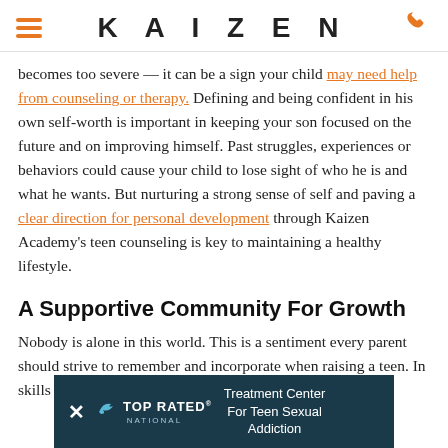KAIZEN
becomes too severe — it can be a sign your child may need help from counseling or therapy. Defining and being confident in his own self-worth is important in keeping your son focused on the future and on improving himself. Past struggles, experiences or behaviors could cause your child to lose sight of who he is and what he wants. But nurturing a strong sense of self and paving a clear direction for personal development through Kaizen Academy's teen counseling is key to maintaining a healthy lifestyle.
A Supportive Community For Growth
Nobody is alone in this world. This is a sentiment every parent should strive to remember and incorporate when raising a teen. In [...] skills and commu[...] strong social co[...]
[Figure (infographic): Top Rated National banner overlay with close button, logo, and text 'Treatment Center For Teen Sexual Addiction']